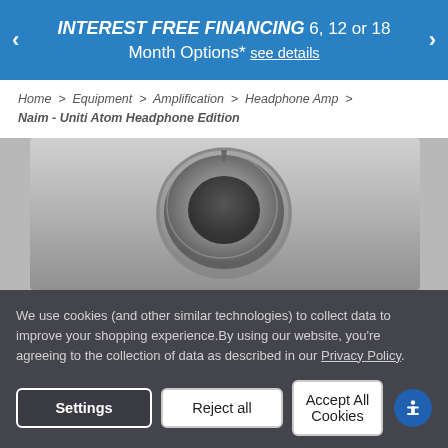[Figure (infographic): Blue promotional banner with left and right navigation arrows. Text reads: INTEREST FREE FINANCING 6, 12 or 18 Month Options* see details]
Home > Equipment > Amplification > Headphone Amp > Naim - Uniti Atom Headphone Edition
[Figure (photo): Close-up photo of a silver/grey device top surface showing a circular dial or control element with a ring and a central dark area, on a brushed metal surface.]
We use cookies (and other similar technologies) to collect data to improve your shopping experience.By using our website, you're agreeing to the collection of data as described in our Privacy Policy.
Settings   Reject all   Accept All Cookies